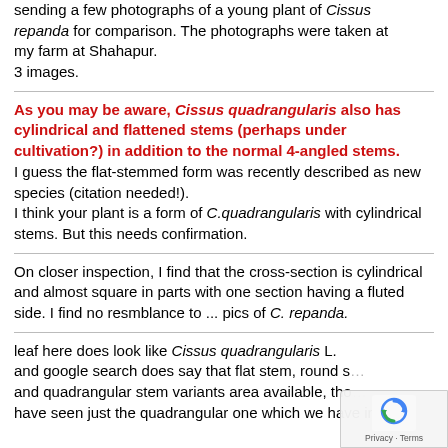sending a few photographs of a young plant of Cissus repanda for comparison. The photographs were taken at my farm at Shahapur.
3 images.
As you may be aware, Cissus quadrangularis also has cylindrical and flattened stems (perhaps under cultivation?) in addition to the normal 4-angled stems. I guess the flat-stemmed form was recently described as new species (citation needed!). I think your plant is a form of C.quadrangularis with cylindrical stems. But this needs confirmation.
On closer inspection, I find that the cross-section is cylindrical and almost square in parts with one section having a fluted side. I find no resmblance to ... pics of C. repanda.
leaf here does look like Cissus quadrangularis L. and google search does say that flat stem, round s... and quadrangular stem variants area available, tho... have seen just the quadrangular one which we have in our...